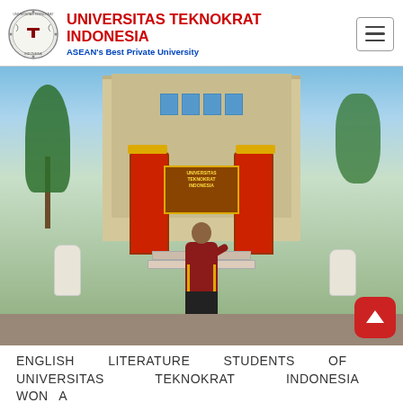UNIVERSITAS TEKNOKRAT INDONESIA — ASEAN's Best Private University
[Figure (photo): A student in a maroon university blazer stands in front of the Universitas Teknokrat Indonesia building entrance, with decorative statues and tropical plants on either side. The building facade features traditional Indonesian decorative motifs in red and gold.]
ENGLISH LITERATURE STUDENTS OF UNIVERSITAS TEKNOKRAT INDONESIA WON A